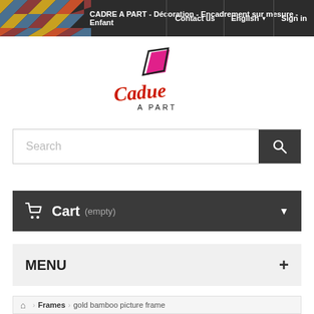CADRE A PART - Décoration - Encadrement sur mesure - Enfant
[Figure (logo): Cadre A Part logo with stylized text in red cursive and pink/magenta geometric shape]
Search
Cart (empty)
MENU
Frames > gold bamboo picture frame